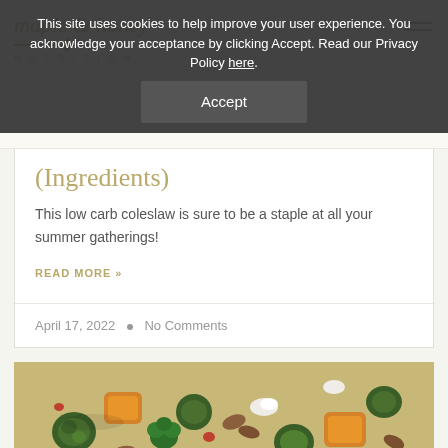This site uses cookies to help improve your user experience. You acknowledge your acceptance by clicking Accept. Read our Privacy Policy here.
Maple & Honey Nutrition
(Ingredients)
This low carb coleslaw is sure to be a staple at all your summer gatherings!
READ MORE »
April 17, 2022 • No Comments
[Figure (photo): Close-up photo of a roasted vegetable dish containing Brussels sprouts, butternut squash, broccoli, pecans, white cheese crumbles, and other roasted vegetables in a baking dish]